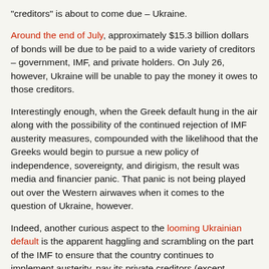“creditors” is about to come due – Ukraine.
Around the end of July, approximately $15.3 billion dollars of bonds will be due to be paid to a wide variety of creditors – government, IMF, and private holders. On July 26, however, Ukraine will be unable to pay the money it owes to those creditors.
Interestingly enough, when the Greek default hung in the air along with the possibility of the continued rejection of IMF austerity measures, compounded with the likelihood that the Greeks would begin to pursue a new policy of independence, sovereignty, and dirigism, the result was media and financier panic. That panic is not being played out over the Western airwaves when it comes to the question of Ukraine, however.
Indeed, another curious aspect to the looming Ukrainian default is the apparent haggling and scrambling on the part of the IMF to ensure that the country continues to implement austerity, pay its private creditors (except Russia), and pay the IMF while staying afloat, at least on paper. After all, when